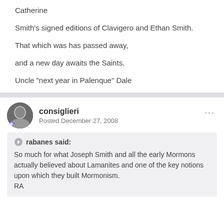Catherine
Smith's signed editions of Clavigero and Ethan Smith.
That which was has passed away,
and a new day awaits the Saints.
Uncle "next year in Palenque" Dale
consiglieri
Posted December 27, 2008
rabanes said:
So much for what Joseph Smith and all the early Mormons actually believed about Lamanites and one of the key notions upon which they built Mormonism.
RA